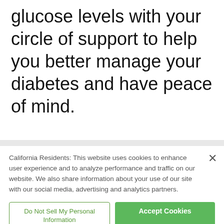glucose levels with your circle of support to help you better manage your diabetes and have peace of mind.
California Residents: This website uses cookies to enhance user experience and to analyze performance and traffic on our website. We also share information about your use of our site with our social media, advertising and analytics partners.
Do Not Sell My Personal Information
Accept Cookies